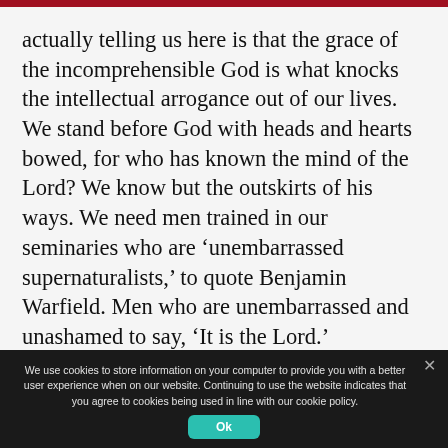actually telling us here is that the grace of the incomprehensible God is what knocks the intellectual arrogance out of our lives. We stand before God with heads and hearts bowed, for who has known the mind of the Lord? We know but the outskirts of his ways. We need men trained in our seminaries who are ‘unembarrassed supernaturalists,’ to quote Benjamin Warfield. Men who are unembarrassed and unashamed to say, ‘It is the Lord.’
We use cookies to store information on your computer to provide you with a better user experience when on our website. Continuing to use the website indicates that you agree to cookies being used in line with our cookie policy.